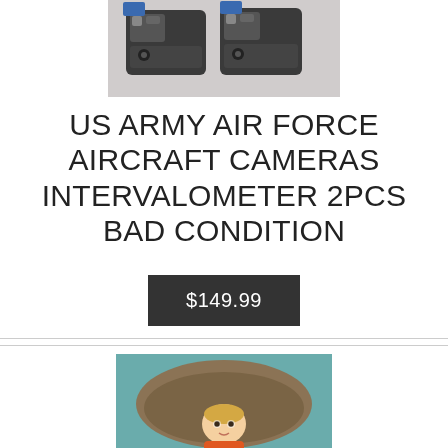[Figure (photo): Photo of two US Army Air Force aircraft camera intervalometers in bad condition, dark mechanical components against a light background]
US ARMY AIR FORCE AIRCRAFT CAMERAS INTERVALOMETER 2PCS BAD CONDITION
$149.99
[Figure (photo): Photo of a figurine showing a child under a large hat or umbrella, teal/blue-green background]